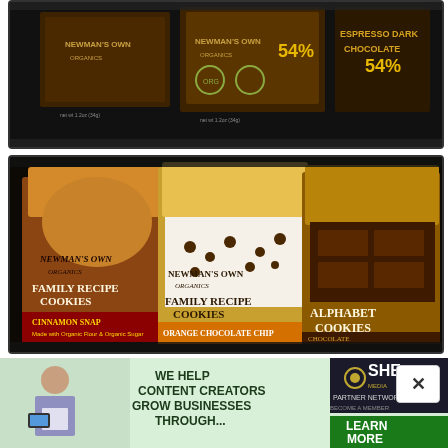[Figure (photo): Newman's Own Organics Espresso Dark Chocolate bars showing 54% cacao label on dark background]
[Figure (photo): Three bags of Newman's Own Organics cookies: Family Recipe Cookies (cinnamon snap), Family Recipe Cookies (Orange Chocolate Chip), and Alphabet Cookies (chocolate)]
[Figure (photo): Newman's Own Organics Dark Chocolate Peppermint Cups, Made with Organic Chocolate, Net WT 1.2 oz (34g), 3 Cup package]
[Figure (infographic): Advertisement banner: 'WE HELP CONTENT CREATORS GROW BUSINESSES THROUGH... SHE MEDIA PARTNER NETWORK BECOME A MEMBER - LEARN MORE' with woman holding tablet]